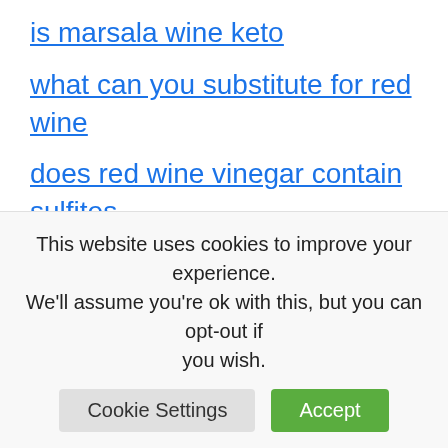is marsala wine keto
what can you substitute for red wine
does red wine vinegar contain sulfites
what are wine legs
how to make a wine slushie
what stores carry skinny girl wine
where to stay in wine country
how to box wine
does wine make you gain weight
This website uses cookies to improve your experience. We'll assume you're ok with this, but you can opt-out if you wish.